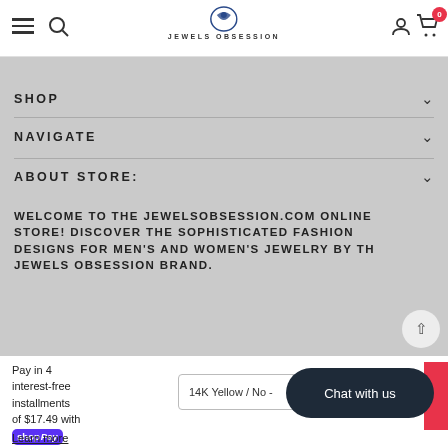Jewels Obsession — Navigation header with hamburger, search, logo, account, and cart (0)
SHOP
NAVIGATE
ABOUT STORE:
WELCOME TO THE JEWELSOBSESSION.COM ONLINE STORE! DISCOVER THE SOPHISTICATED FASHION DESIGNS FOR MEN'S AND WOMEN'S JEWELRY BY THE JEWELS OBSESSION BRAND.
Pay in 4 interest-free installments of $17.49 with Shop Pay
Learn more
14K Yellow / No -
Chat with us